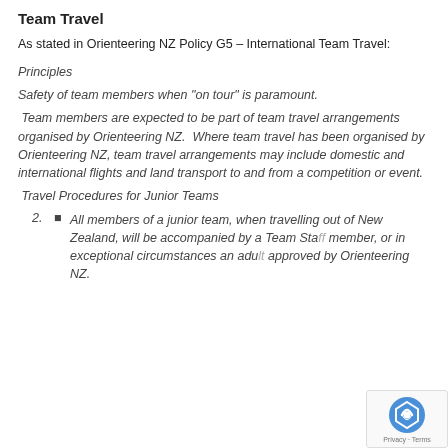Team Travel
As stated in Orienteering NZ Policy G5 – International Team Travel:
Principles
Safety of team members when “on tour” is paramount.
Team members are expected to be part of team travel arrangements organised by Orienteering NZ.  Where team travel has been organised by Orienteering NZ, team travel arrangements may include domestic and international flights and land transport to and from a competition or event.
Travel Procedures for Junior Teams
2. All members of a junior team, when travelling out of New Zealand, will be accompanied by a Team Staff member, or in exceptional circumstances an adult approved by Orienteering NZ.